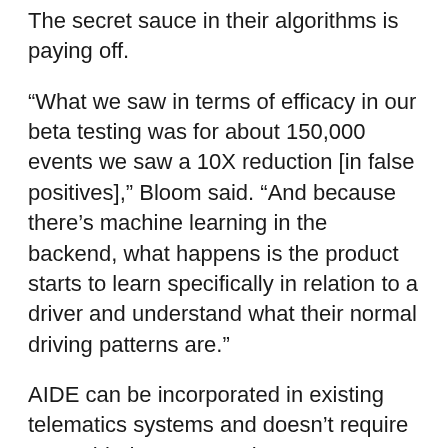The secret sauce in their algorithms is paying off.
“What we saw in terms of efficacy in our beta testing was for about 150,000 events we saw a 10X reduction [in false positives],” Bloom said. “And because there’s machine learning in the backend, what happens is the product starts to learn specifically in relation to a driver and understand what their normal driving patterns are.”
AIDE can be incorporated in existing telematics systems and doesn’t require AI-enabled cameras. Bloom recommends that fleets take two approaches to cameras: equip some trucks with only road-facing cameras and others with both road and driver-facing cameras.
He said he’s seen greater acceptance of driver-